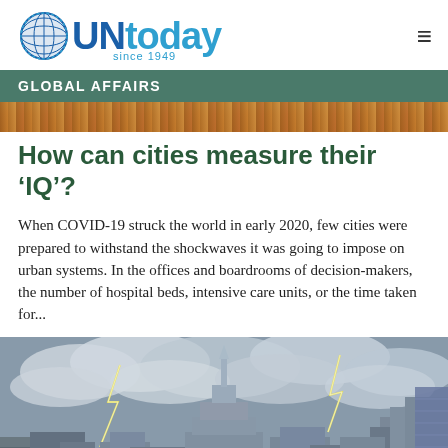UNtoday since 1949
GLOBAL AFFAIRS
[Figure (photo): Partial view of a colorful ceiling or interior architectural detail with diagonal lines]
How can cities measure their ‘IQ’?
When COVID-19 struck the world in early 2020, few cities were prepared to withstand the shockwaves it was going to impose on urban systems. In the offices and boardrooms of decision-makers, the number of hospital beds, intensive care units, or the time taken for…
[Figure (photo): City skyline (New York City, Empire State Building visible) under dramatic stormy sky with lightning bolts, with social media icons (Facebook, WhatsApp, Twitter, Instagram, LinkedIn) overlaid at the bottom]